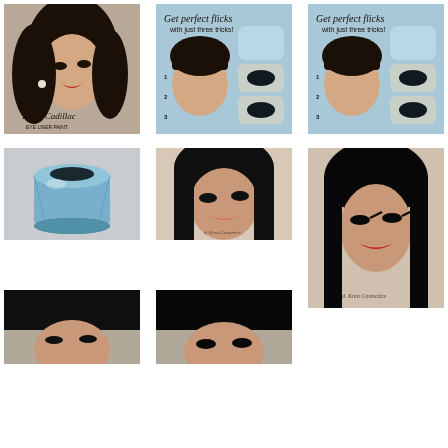[Figure (photo): Woman with dark wavy hair, vintage makeup, red lips, pearl earring. Text overlay reads 'Black Cadillac Eye Liner Paint']
[Figure (photo): Beauty tutorial infographic: 'Get perfect flicks with just three tricks!' showing a woman with black bangs and step-by-step eye illustration panels on blue background]
[Figure (photo): Beauty tutorial infographic: 'Get perfect flicks with just three tricks!' duplicate on blue background]
[Figure (photo): Blue hexagonal glass/plastic cosmetic jar product photo on gray background]
[Figure (photo): Woman with dark black hair and bangs, vintage makeup, coral lips, close-up portrait]
[Figure (photo): Woman with dark black hair and bangs, vintage makeup, red lips, close-up portrait with logo watermark]
[Figure (photo): Partial photo - woman with dark hair, cropped at bottom]
[Figure (photo): Partial photo - woman with dark hair and bangs, cropped at bottom]